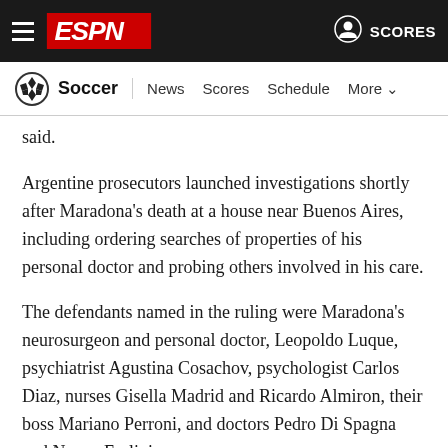ESPN - Soccer | News Scores Schedule More
said.
Argentine prosecutors launched investigations shortly after Maradona's death at a house near Buenos Aires, including ordering searches of properties of his personal doctor and probing others involved in his care.
The defendants named in the ruling were Maradona's neurosurgeon and personal doctor, Leopoldo Luque, psychiatrist Agustina Cosachov, psychologist Carlos Diaz, nurses Gisella Madrid and Ricardo Almiron, their boss Mariano Perroni, and doctors Pedro Di Spagna and Nancy Forlini.
The defendants have denied responsibility for Maradona's